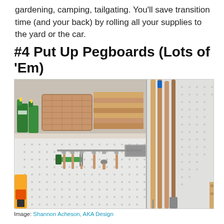gardening, camping, tailgating. You'll save transition time (and your back) by rolling all your supplies to the yard or the car.
#4 Put Up Pegboards (Lots of 'Em)
[Figure (photo): A garage pegboard wall with garden tools hanging on hooks — trowels, a fork, pruners, a hose nozzle, and a basket of assorted tools. A shelf above holds green spray bottles and woven/stacked items. To the right, tall-handled tools (rakes, brooms) lean against another pegboard.]
Image: Shannon Acheson, AKA Design